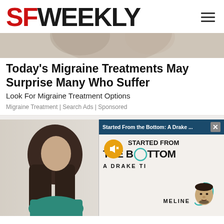SF WEEKLY
[Figure (photo): Partial photo of a person's head/face at top of page, cropped]
Today's Migraine Treatments May Surprise Many Who Suffer
Look For Migraine Treatment Options
Migraine Treatment | Search Ads | Sponsored
[Figure (photo): Background photo of person with long dark hair wearing teal shirt, facing away; overlaid with a video popup titled 'Started From the Bottom: A Drake...' showing text 'STARTED FROM THE BOTTOM A DRAKE TIMELINE' with mute button icon and Drake face illustration]